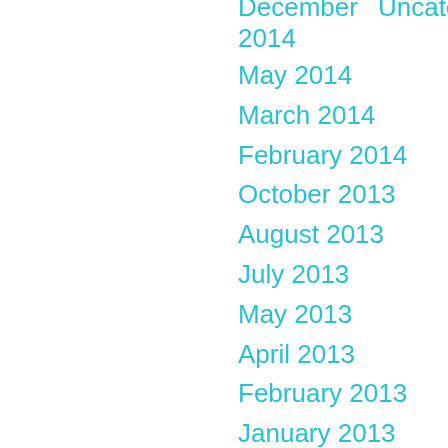December 2014    Uncategorized
May 2014
March 2014
February 2014
October 2013
August 2013
July 2013
May 2013
April 2013
February 2013
January 2013
December 2012
November 2012
September 2012
August 2012
July 2012
June 2012
May 2012
April 2012
March 2012
February 2012